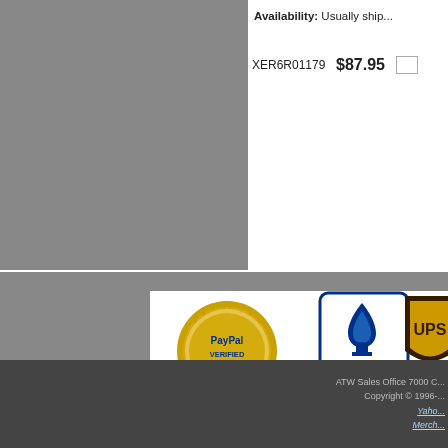Availability: Usually ship...
XER6R01179  $87.95
[Figure (logo): PayPal Verified badge, BBB Accredited Business badge, UPS logo, eBay logo, with Visa/MasterCard/Discover/Amex payment icons]
ATW Sales Office 7000 C... Copyright © 1996-... Yahoo... Merch...